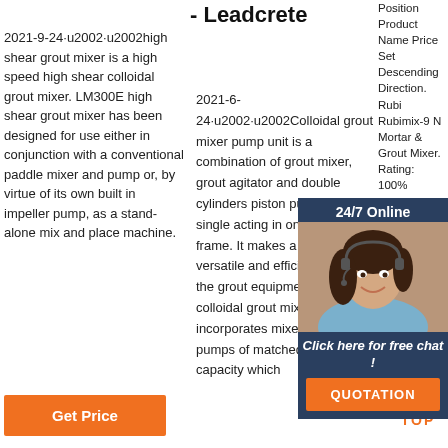- Leadcrete
2021-9-24  high shear grout mixer is a high speed high shear colloidal grout mixer. LM300E high shear grout mixer has been designed for use either in conjunction with a conventional paddle mixer and pump or, by virtue of its own built in impeller pump, as a stand-alone mix and place machine.
2021-6-24  Colloidal grout mixer pump unit is a combination of grout mixer, grout agitator and double cylinders piston pump with single acting in one base frame. It makes a very versatile and efficient piece of the grout equipment. Each colloidal grout mixer pump unit incorporates mixers and pumps of matched volume capacity which
Position Product Name Price Set Descending Direction. Rubi Rubimix-9 N Mortar & Grout Mixer. Rating: 100%
[Figure (photo): Customer service representative woman with headset smiling, shown in overlay chat box with dark blue background]
24/7 Online
Click here for free chat !
QUOTATION
Get Price
[Figure (illustration): Orange TOP icon with upward arrow made of dots above the word TOP in orange letters]